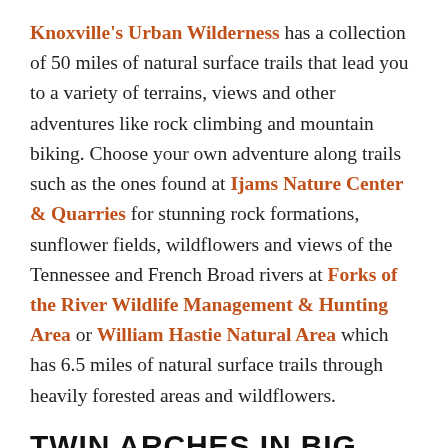Knoxville's Urban Wilderness has a collection of 50 miles of natural surface trails that lead you to a variety of terrains, views and other adventures like rock climbing and mountain biking. Choose your own adventure along trails such as the ones found at Ijams Nature Center & Quarries for stunning rock formations, sunflower fields, wildflowers and views of the Tennessee and French Broad rivers at Forks of the River Wildlife Management & Hunting Area or William Hastie Natural Area which has 6.5 miles of natural surface trails through heavily forested areas and wildflowers.
TWIN ARCHES IN BIG SOUTH